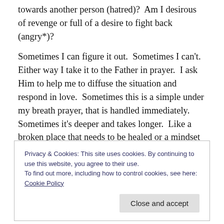towards another person (hatred)?  Am I desirous of revenge or full of a desire to fight back (angry*)?

Sometimes I can figure it out.  Sometimes I can't.  Either way I take it to the Father in prayer.  I ask Him to help me to diffuse the situation and respond in love.  Sometimes this is a simple under my breath prayer, that is handled immediately.  Sometimes it's deeper and takes longer.  Like a broken place that needs to be healed or a mindset that needs to be changed.  Whether the issue is big or small, God is big enough to take care of it.  God is Yahweh
Privacy & Cookies: This site uses cookies. By continuing to use this website, you agree to their use.
To find out more, including how to control cookies, see here: Cookie Policy